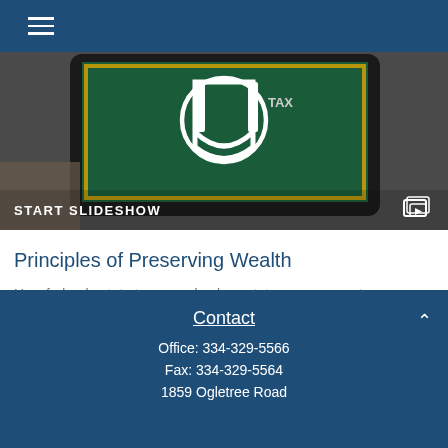Navigation bar with hamburger menu icon
[Figure (screenshot): Screenshot of a tablet displaying a chalkboard-style educational image with a logo and the word TAX. Below the image is a 'START SLIDESHOW' label with a slideshow icon on the right.]
Principles of Preserving Wealth
How federal estate taxes work, plus estate management documents and tactics.
Contact
Office: 334-329-5566
Fax: 334-329-5564
1859 Ogletree Road